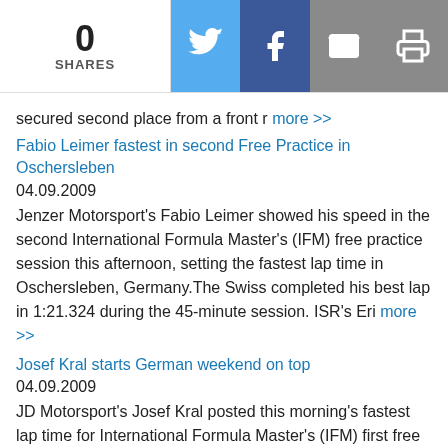[Figure (infographic): Social share bar with count 0 SHARES and Twitter, Facebook, Email, Print icons]
secured second place from a front r more >>
Fabio Leimer fastest in second Free Practice in Oschersleben
04.09.2009
Jenzer Motorsport's Fabio Leimer showed his speed in the second International Formula Master's (IFM) free practice session this afternoon, setting the fastest lap time in Oschersleben, Germany.The Swiss completed his best lap in 1:21.324 during the 45-minute session. ISR's Eri more >>
Josef Kral starts German weekend on top
04.09.2009
JD Motorsport's Josef Kral posted this morning's fastest lap time for International Formula Master's (IFM) first free practice session in Oschersleben, Germany.The young Czech completed his best lap in 1:22.091, ahead of ISR's Alexander Rossi whose quickest time was 1:22.149. Je more >>
Penultimate rounds could see Champion crowned
04.09.2009
As the International Formula Master Series (IFM) moves to Oschersleben in Germany this weekend for its penultimate rounds, Jenzer Motorsport's Fabio Leimer is within reach of clinching the 2009 Drivers' title. The young Swiss has led the championship throughout the season and is now within three points of securing the title, after a near-perfect event in Spa-